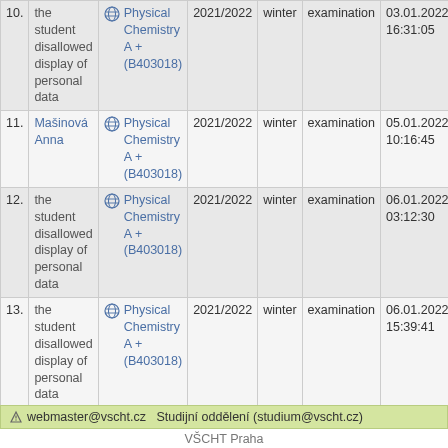| # | Name | Course | Year | Semester | Type | Date/Time |
| --- | --- | --- | --- | --- | --- | --- |
| 10. | the student disallowed display of personal data | Physical Chemistry A + (B403018) | 2021/2022 | winter | examination | 03.01.2022 16:31:05 |
| 11. | Mašinová Anna | Physical Chemistry A + (B403018) | 2021/2022 | winter | examination | 05.01.2022 10:16:45 |
| 12. | the student disallowed display of personal data | Physical Chemistry A + (B403018) | 2021/2022 | winter | examination | 06.01.2022 03:12:30 |
| 13. | the student disallowed display of personal data | Physical Chemistry A + (B403018) | 2021/2022 | winter | examination | 06.01.2022 15:39:41 |
| 14. | the student disallowed display of personal data | Physical Chemistry A + (B403018) | 2021/2022 | winter | examination | 03.01.2022 15:29:01 |
webmaster@vscht.cz  Studijní oddělení (studium@vscht.cz)
VŠCHT Praha